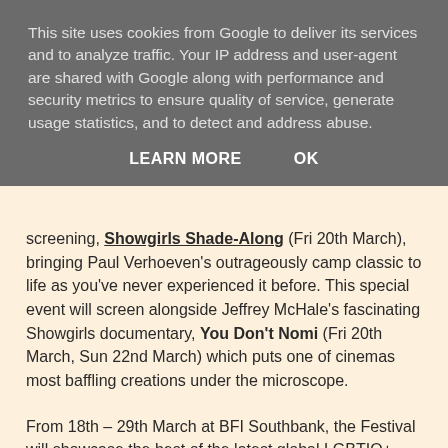This site uses cookies from Google to deliver its services and to analyze traffic. Your IP address and user-agent are shared with Google along with performance and security metrics to ensure quality of service, generate usage statistics, and to detect and address abuse.
LEARN MORE   OK
screening, Showgirls Shade-Along (Fri 20th March), bringing Paul Verhoeven's outrageously camp classic to life as you've never experienced it before. This special event will screen alongside Jeffrey McHale's fascinating Showgirls documentary, You Don't Nomi (Fri 20th March, Sun 22nd March) which puts one of cinemas most baffling creations under the microscope.
From 18th – 29th March at BFI Southbank, the Festival will showcase the best of the latest global LGBTIQ+ features and short films. BFI Flare is divided into three thematic strands: Hearts, Bodies and Minds.
Source: BFI